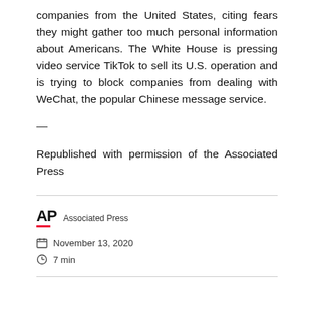companies from the United States, citing fears they might gather too much personal information about Americans. The White House is pressing video service TikTok to sell its U.S. operation and is trying to block companies from dealing with WeChat, the popular Chinese message service.
—
Republished with permission of the Associated Press
Associated Press
November 13, 2020
7 min